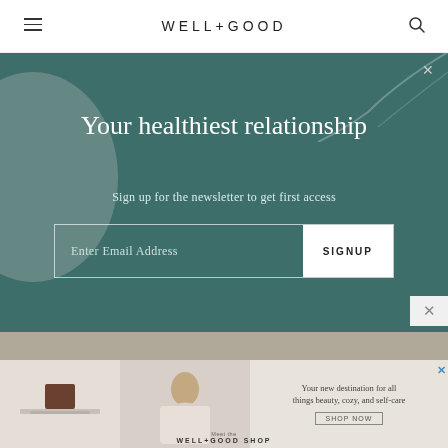WELL+GOOD
Your healthiest relationship
Sign up for the newsletter to get first access
Enter Email Address  SIGNUP
Kayla Hui
September 5, 2022
[Figure (screenshot): Well+Good Shop advertisement banner with product image, woman photo, and text 'Your new destination for all things beauty, cozy, and self-care']